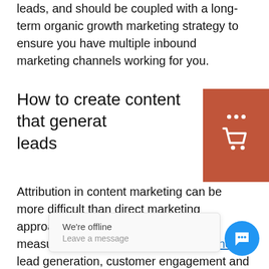leads, and should be coupled with a long-term organic growth marketing strategy to ensure you have multiple inbound marketing channels working for you.
How to create content that generates leads
Attribution in content marketing can be more difficult than direct marketing approaches. But when it comes to measuring your content marketing funnel, lead generation, customer engagement and SEO rankings are three trackable metrics